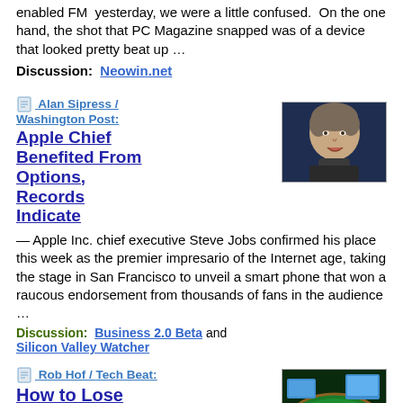enabled FM  yesterday, we were a little confused.  On the one hand, the shot that PC Magazine snapped was of a device that looked pretty beat up …
Discussion:  Neowin.net
Alan Sipress / Washington Post:
Apple Chief Benefited From Options, Records Indicate
[Figure (photo): Photo of Steve Jobs, Apple CEO, speaking at an event against a dark blue background]
— Apple Inc. chief executive Steve Jobs confirmed his place this week as the premier impresario of the Internet age, taking the stage in San Francisco to unveil a smart phone that won a raucous endorsement from thousands of fans in the audience …
Discussion:  Business 2.0 Beta and Silicon Valley Watcher
Rob Hof / Tech Beat:
How to Lose Your Shirt in Second Life
[Figure (photo): Photo of a virtual casino blackjack table in the online game Second Life, with a green felt table and blue computer screens in the background]